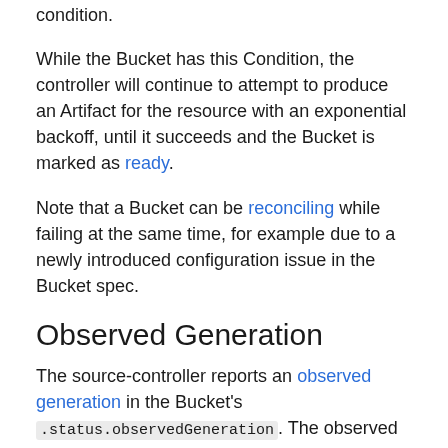condition.
While the Bucket has this Condition, the controller will continue to attempt to produce an Artifact for the resource with an exponential backoff, until it succeeds and the Bucket is marked as ready.
Note that a Bucket can be reconciling while failing at the same time, for example due to a newly introduced configuration issue in the Bucket spec.
Observed Generation
The source-controller reports an observed generation in the Bucket's .status.observedGeneration. The observed generation is the latest .metadata.generation which resulted in either a ready state, or stalled due to error it can not recover from without human intervention.